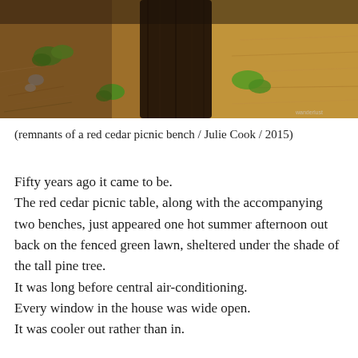[Figure (photo): Close-up photograph of remnants of a red cedar picnic bench on a forest floor. A dark wooden post is visible at center, surrounded by dry brown pine needles, small green plant sprouts, dead leaves, and scattered stones.]
(remnants of a red cedar picnic bench / Julie Cook / 2015)
Fifty years ago it came to be.
The red cedar picnic table, along with the accompanying two benches, just appeared one hot summer afternoon out back on the fenced green lawn, sheltered under the shade of the tall pine tree.
It was long before central air-conditioning.
Every window in the house was wide open.
It was cooler out rather than in.